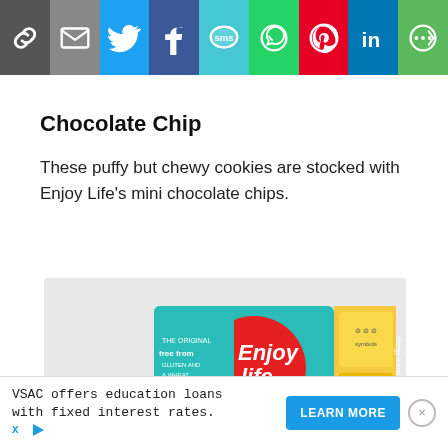[Figure (infographic): Social media share bar with icons: link/copy, email, Twitter, Facebook, SMS, WhatsApp, Pinterest, LinkedIn, More]
Chocolate Chip
These puffy but chewy cookies are stocked with Enjoy Life's mini chocolate chips.
[Figure (photo): Enjoy Life brand cookie box — teal box with red circle logo reading 'Enjoy Life', 'free from' text and allergy friendly label]
VSAC offers education loans with fixed interest rates. LEARN MORE